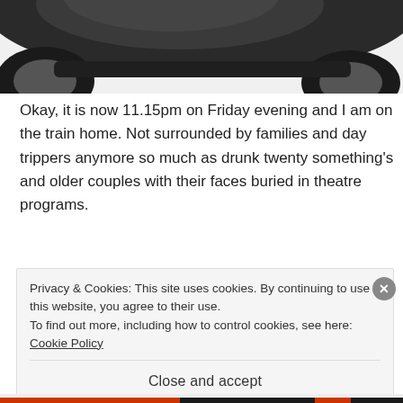[Figure (photo): Partial view of a dark-colored vehicle (bottom/underside), black and grey tones, cropped at the top of the page]
Okay, it is now 11.15pm on Friday evening and I am on the train home. Not surrounded by families and day trippers anymore so much as drunk twenty something's and older couples with their faces buried in theatre programs.
Privacy & Cookies: This site uses cookies. By continuing to use this website, you agree to their use.
To find out more, including how to control cookies, see here: Cookie Policy
Close and accept